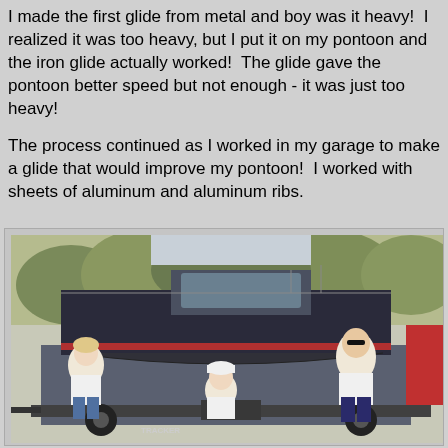I made the first glide from metal and boy was it heavy!  I realized it was too heavy, but I put it on my pontoon and the iron glide actually worked!  The glide gave the pontoon better speed but not enough - it was just too heavy!

The process continued as I worked in my garage to make a glide that would improve my pontoon!  I worked with sheets of aluminum and aluminum ribs.
[Figure (photo): Three people standing in front of a pontoon boat on a trailer. A woman in a white top and denim shorts on the left, an older man in a white cap and white shirt kneeling in the center, and a taller man in a white polo shirt and dark shorts on the right.]